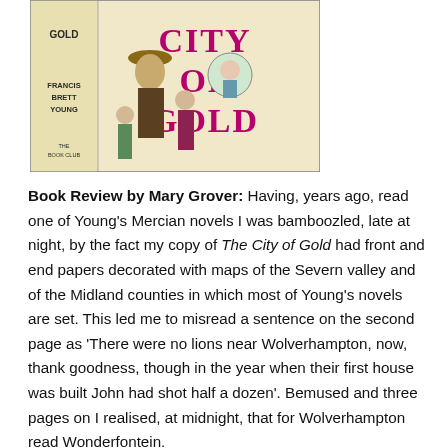[Figure (illustration): Book cover of 'City of Gold' by Francis Brett Young, published by The Book Club. Shows a man in a fedora hat, two women, and the title 'CITY OF GOLD' in large pink/red letters on a cream background.]
Book Review by Mary Grover: Having, years ago, read one of Young's Mercian novels I was bamboozled, late at night, by the fact my copy of The City of Gold had front and end papers decorated with maps of the Severn valley and of the Midland counties in which most of Young's novels are set. This led me to misread a sentence on the second page as 'There were no lions near Wolverhampton, now, thank goodness, though in the year when their first house was built John had shot half a dozen'. Bemused and three pages on I realised, at midnight, that for Wolverhampton read Wonderfontein.